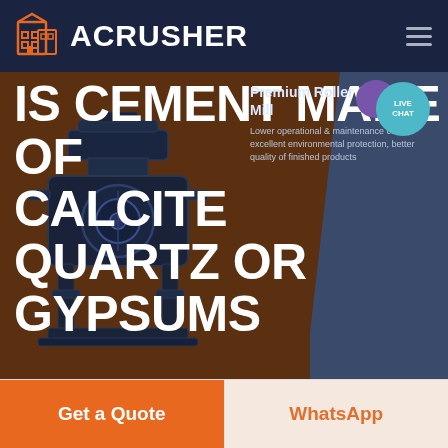ACRUSHER
IS CEMENT MADE OF CALCITE QUARTZ OR GYPSUMS
Premium Roller Grinding Mill
Lower operational & maintenance costs, excellent environmental protection, better quality of finished products
HOME / PRODUCTS
[Figure (screenshot): Industrial grinding/milling machine (dark navy colored) displayed against brown-orange and dark-blue hero background]
Get a Quote
WhatsApp